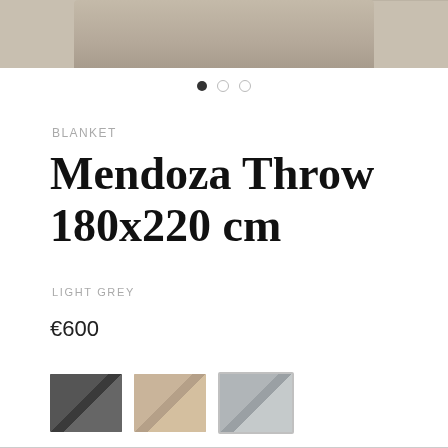[Figure (photo): Partial view of a draped blanket/throw at the top of the page, cropped]
BLANKET
Mendoza Throw 180x220 cm
LIGHT GREY
€600
[Figure (photo): Three color swatch thumbnails of the Mendoza Throw: charcoal/dark grey, beige/tan, and light grey (selected, with white border)]